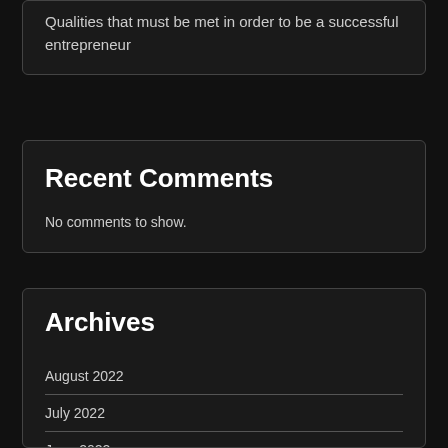Qualities that must be met in order to be a successful entrepreneur
Recent Comments
No comments to show.
Archives
August 2022
July 2022
June 2022